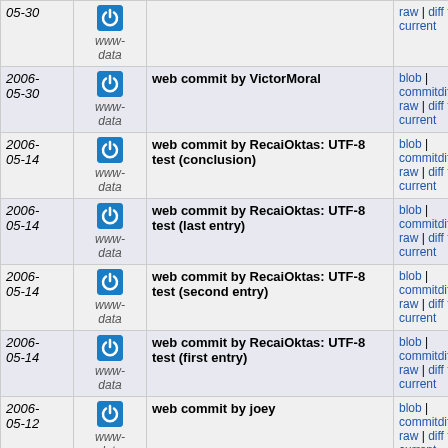| Date | User | Commit Message | Links |
| --- | --- | --- | --- |
| 05-30 | www-data |  | raw | diff to current |
| 2006-05-30 | www-data | web commit by VictorMoral | blob | commitdiff | raw | diff to current |
| 2006-05-14 | www-data | web commit by RecaiOktas: UTF-8 test (conclusion) | blob | commitdiff | raw | diff to current |
| 2006-05-14 | www-data | web commit by RecaiOktas: UTF-8 test (last entry) | blob | commitdiff | raw | diff to current |
| 2006-05-14 | www-data | web commit by RecaiOktas: UTF-8 test (second entry) | blob | commitdiff | raw | diff to current |
| 2006-05-14 | www-data | web commit by RecaiOktas: UTF-8 test (first entry) | blob | commitdiff | raw | diff to current |
| 2006-05-12 | www-data | web commit by joey | blob | commitdiff | raw | diff to current |
| 2006-05-12 | www-data | web commit by EfraimFeinstein: test display of Hebrew text | blob | commitdiff | raw | diff to current |
| 2006-05-05 | www-data | web commit by ThomasSchwinge | blob | commitdiff | raw | diff to current |
| 2006- | www-data | web commit by joey | blob | |